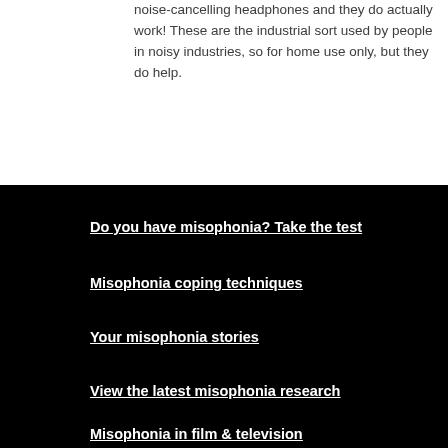noise-cancelling headphones and they do actually work! These are the industrial sort used by people in noisy industries, so for home use only, but they do help.
Do you have misophonia? Take the test
Misophonia coping techniques
Your misophonia stories
View the latest misophonia research
Misophonia in film & television